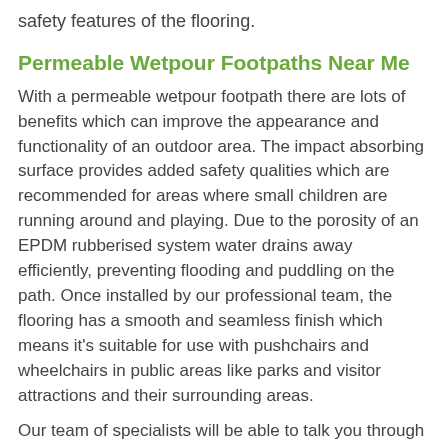safety features of the flooring.
Permeable Wetpour Footpaths Near Me
With a permeable wetpour footpath there are lots of benefits which can improve the appearance and functionality of an outdoor area. The impact absorbing surface provides added safety qualities which are recommended for areas where small children are running around and playing. Due to the porosity of an EPDM rubberised system water drains away efficiently, preventing flooding and puddling on the path. Once installed by our professional team, the flooring has a smooth and seamless finish which means it's suitable for use with pushchairs and wheelchairs in public areas like parks and visitor attractions and their surrounding areas.
Our team of specialists will be able to talk you through all the design options and colours that we offer for a permeable wetpour footpath in Bolam West Houses NE61 4 so you'll get the end result you want. It's not just wet pour we can offer for footpaths, you may also be interested in resin bound stone. For more information on this, please have a look at this page http://www.sustainable-urban...